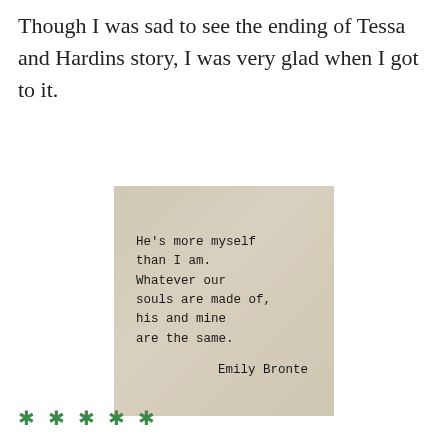Though I was sad to see the ending of Tessa and Hardins story, I was very glad when I got to it.
[Figure (illustration): A quote card with aged beige/tan textured background. Typewriter-font text reads: He's more myself than I am. Whatever our souls are made of, his and mine are the same. Emily Bronte]
* * * * *